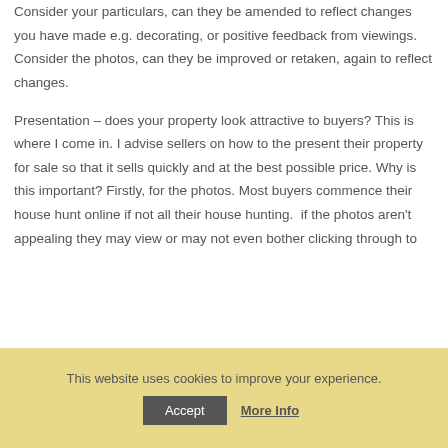Consider your particulars, can they be amended to reflect changes you have made e.g. decorating, or positive feedback from viewings. Consider the photos, can they be improved or retaken, again to reflect changes.
Presentation – does your property look attractive to buyers? This is where I come in. I advise sellers on how to the present their property for sale so that it sells quickly and at the best possible price. Why is this important? Firstly, for the photos. Most buyers commence their house hunt online if not all their house hunting.  if the photos aren't appealing they may view or may not even bother clicking through to
This website uses cookies to improve your experience.